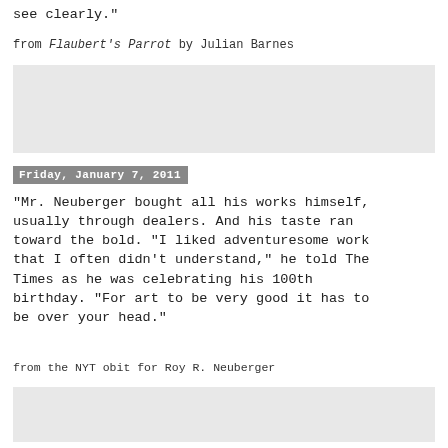see clearly."
from Flaubert's Parrot by Julian Barnes
[Figure (other): Gray placeholder box]
Friday, January 7, 2011
"Mr. Neuberger bought all his works himself, usually through dealers. And his taste ran toward the bold. “I liked adventuresome work that I often didn’t understand,” he told The Times as he was celebrating his 100th birthday. “For art to be very good it has to be over your head.”
from the NYT obit for Roy R. Neuberger
[Figure (other): Gray placeholder box]